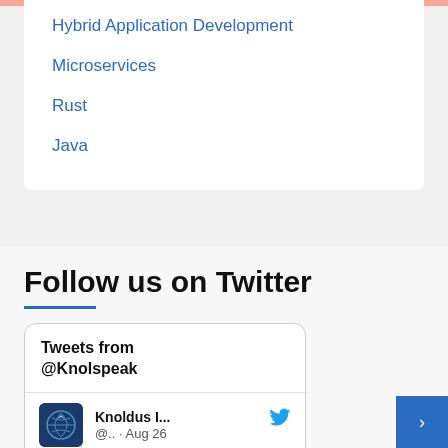Hybrid Application Development
Microservices
Rust
Java
Follow us on Twitter
Tweets from @Knolspeak
Knoldus I... @.. · Aug 26